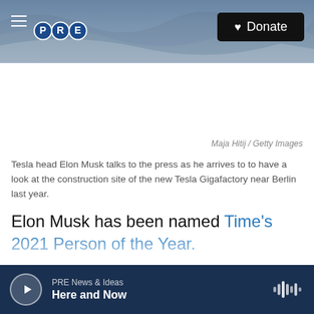[Figure (screenshot): PRE (Public Radio) website header with ocean wave background image, hamburger menu icon on left, PRE logo in center-left, and black Donate button on right]
Maja Hitij / Getty Images
Tesla head Elon Musk talks to the press as he arrives to to have a look at the construction site of the new Tesla Gigafactory near Berlin last year.
Elon Musk has been named Time's 2021 Person of the Year.
Musk, the richest person on Earth, is the CEO of the aerospace company SpaceX and electronic car
PRE News & Ideas · Here and Now